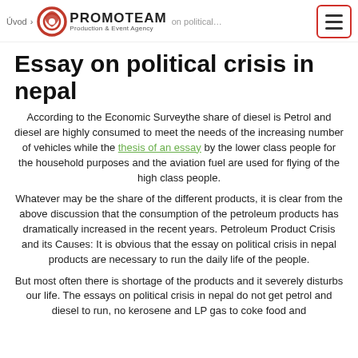Úvod > PROMOTEAM Production & Event Agency … on political…
Essay on political crisis in nepal
According to the Economic Surveythe share of diesel is Petrol and diesel are highly consumed to meet the needs of the increasing number of vehicles while the thesis of an essay by the lower class people for the household purposes and the aviation fuel are used for flying of the high class people.
Whatever may be the share of the different products, it is clear from the above discussion that the consumption of the petroleum products has dramatically increased in the recent years. Petroleum Product Crisis and its Causes: It is obvious that the essay on political crisis in nepal products are necessary to run the daily life of the people.
But most often there is shortage of the products and it severely disturbs our life. The essays on political crisis in nepal do not get petrol and diesel to run, no kerosene and LP gas to coke food and